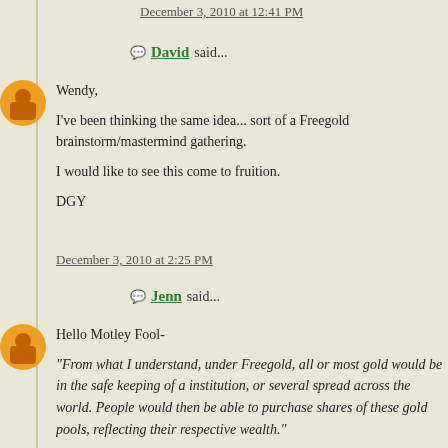December 3, 2010 at 12:41 PM
David said...
Wendy,

I've been thinking the same idea... sort of a Freegold brainstorm/mastermind gathering.

I would like to see this come to fruition.

DGY
December 3, 2010 at 2:25 PM
Jenn said...
Hello Motley Fool-

"From what I understand, under Freegold, all or most gold would be in the safe keeping of a institution, or several spread across the world. People would then be able to purchase shares of these gold pools, reflecting their respective wealth."

I think you've gone a little off track here. It is true there are similar services today and some will continue to persist. Sprott Asset